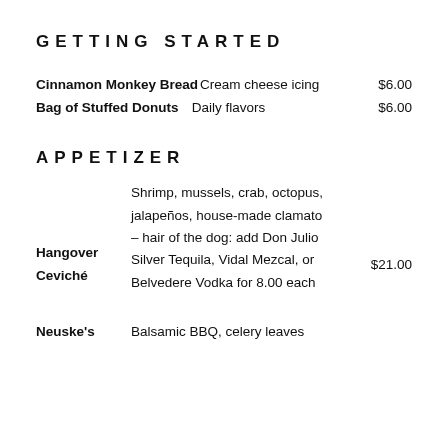GETTING STARTED
Cinnamon Monkey Bread — Cream cheese icing — $6.00
Bag of Stuffed Donuts — Daily flavors — $6.00
APPETIZER
Hangover Ceviché — Shrimp, mussels, crab, octopus, jalapeños, house-made clamato – hair of the dog: add Don Julio Silver Tequila, Vidal Mezcal, or Belvedere Vodka for 8.00 each — $21.00
Neuske's — Balsamic BBQ, celery leaves